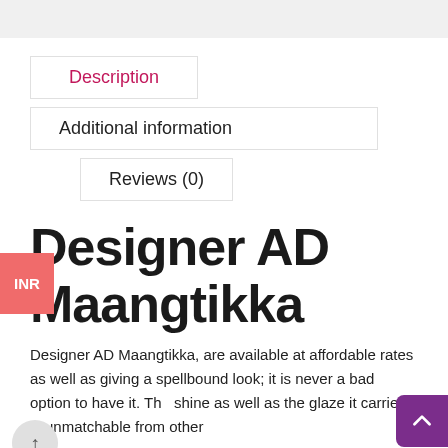Description
Additional information
Reviews (0)
Designer AD Maangtikka
Designer AD Maangtikka, are available at affordable rates as well as giving a spellbound look; it is never a bad option to have it. The shine as well as the glaze it carries is unmatchable from other